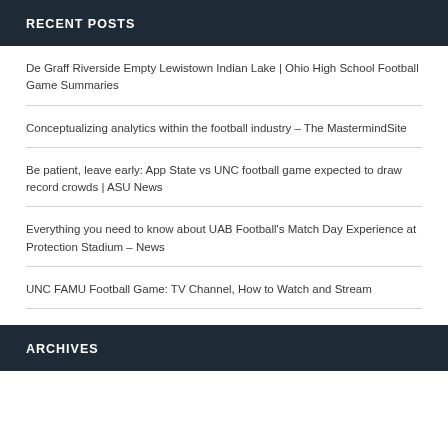RECENT POSTS
De Graff Riverside Empty Lewistown Indian Lake | Ohio High School Football Game Summaries
Conceptualizing analytics within the football industry – The MastermindSite
Be patient, leave early: App State vs UNC football game expected to draw record crowds | ASU News
Everything you need to know about UAB Football's Match Day Experience at Protection Stadium – News
UNC FAMU Football Game: TV Channel, How to Watch and Stream
ARCHIVES